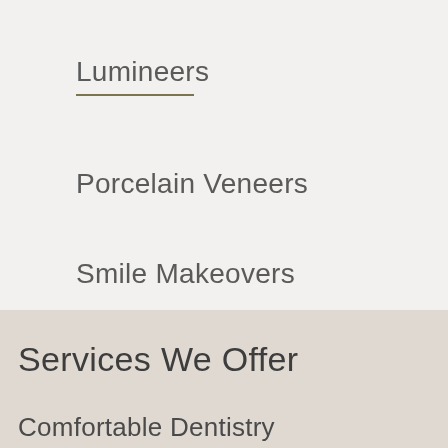Lumineers
Porcelain Veneers
Smile Makeovers
Services We Offer
Comfortable Dentistry